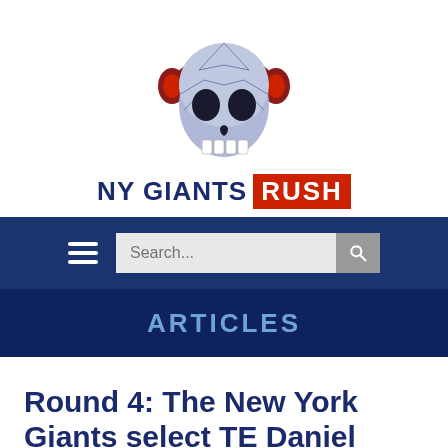[Figure (logo): NY Giants Rush logo: a mosaic/geometric blue skull wearing red headphones, with 'NY GIANTS RUSH' text below — NY GIANTS in dark blue, RUSH in white on red background]
[Figure (screenshot): Navigation bar with hamburger menu icon and search bar on dark navy background]
ARTICLES
Round 4: The New York Giants select TE Daniel